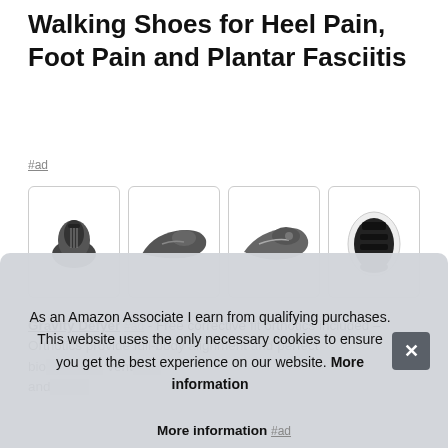Walking Shoes for Heel Pain, Foot Pain and Plantar Fasciitis
#ad
[Figure (photo): Four product photos of dark grey walking/running shoes shown from different angles: top view, side view, angled side view, and sole view]
Gravity Defyer #ad - Free corrective fit orthotics included – Orthotics provide full-body alignment and perfect bio... vent... and...
As an Amazon Associate I earn from qualifying purchases. This website uses the only necessary cookies to ensure you get the best experience on our website. More information
More information #ad